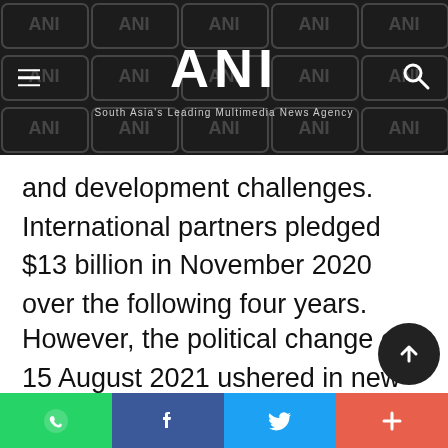ANI – South Asia's Leading Multimedia News Agency
and development challenges. International partners pledged $13 billion in November 2020 over the following four years.
However, the political change on 15 August 2021 ushered in new conditions. The international community's non-recognition of the Taliban, coupled with uncertainty arising from the divergence between official announcements and
Social share bar: WhatsApp, Facebook, Twitter, More